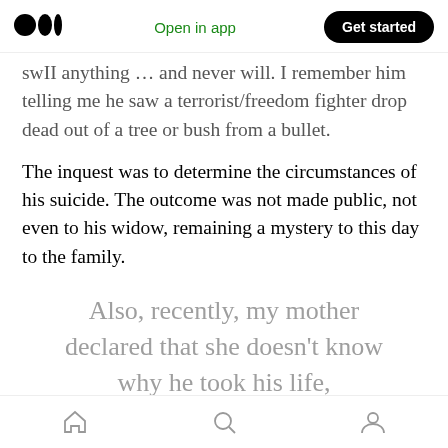Open in app | Get started
swII anything … and never will. I remember him telling me he saw a terrorist/freedom fighter drop dead out of a tree or bush from a bullet.
The inquest was to determine the circumstances of his suicide. The outcome was not made public, not even to his widow, remaining a mystery to this day to the family.
Also, recently, my mother declared that she doesn't know why he took his life,
Home | Search | Profile